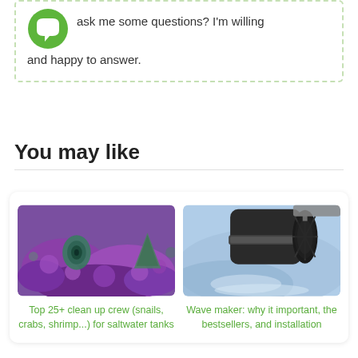ask me some questions? I'm willing and happy to answer.
You may like
[Figure (photo): Photo of snails and purple coral in a saltwater aquarium tank]
Top 25+ clean up crew (snails, crabs, shrimp...) for saltwater tanks
[Figure (photo): Photo of a wave maker pump device installed in an aquarium, close-up of a black cylindrical motor]
Wave maker: why it important, the bestsellers, and installation